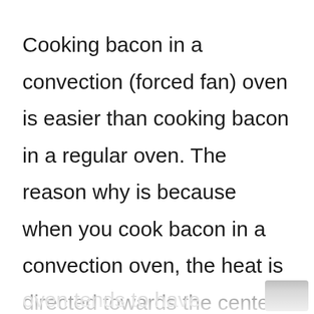Cooking bacon in a convection (forced fan) oven is easier than cooking bacon in a regular oven. The reason why is because when you cook bacon in a convection oven, the heat is directed towards the center of the oven typically with fans. Plus the oven tends to have less. hot spots